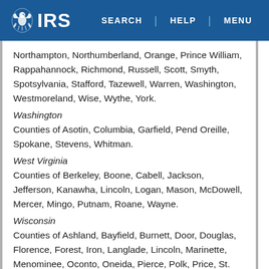IRS | SEARCH | HELP | MENU
Northampton, Northumberland, Orange, Prince William, Rappahannock, Richmond, Russell, Scott, Smyth, Spotsylvania, Stafford, Tazewell, Warren, Washington, Westmoreland, Wise, Wythe, York.
Washington
Counties of Asotin, Columbia, Garfield, Pend Oreille, Spokane, Stevens, Whitman.
West Virginia
Counties of Berkeley, Boone, Cabell, Jackson, Jefferson, Kanawha, Lincoln, Logan, Mason, McDowell, Mercer, Mingo, Putnam, Roane, Wayne.
Wisconsin
Counties of Ashland, Bayfield, Burnett, Door, Douglas, Florence, Forest, Iron, Langlade, Lincoln, Marinette, Menominee, Oconto, Oneida, Pierce, Polk, Price, St. Croix, Sawyer, Vilas, Washburn.
Wyoming